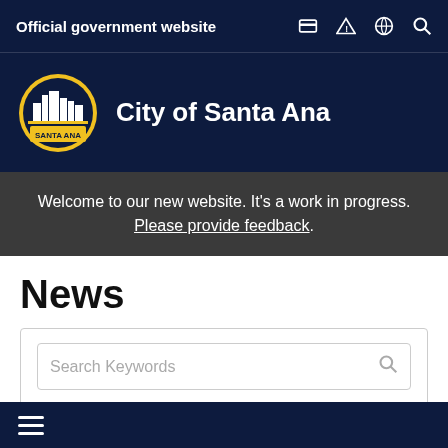Official government website
City of Santa Ana
Welcome to our new website. It's a work in progress. Please provide feedback.
News
Search Keywords
Category